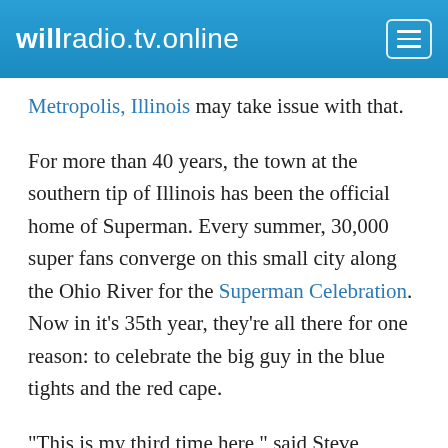willradio.tv.online
Metropolis, Illinois may take issue with that.
For more than 40 years, the town at the southern tip of Illinois has been the official home of Superman. Every summer, 30,000 super fans converge on this small city along the Ohio River for the Superman Celebration. Now in it’s 35th year, they’re all there for one reason: to celebrate the big guy in the blue tights and the red cape.
“This is my third time here,” said Steve Younis with a thick Aussie accent. “I wish I could come every year but it’s expensive to come from Australia every year.”